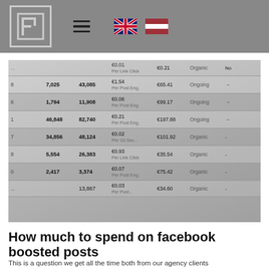Navigation header with logo, hamburger menu, UK flag and Latvian flag
[Figure (screenshot): Screenshot of a Facebook Ads Manager table showing boosted post statistics including reach, impressions, cost per result (Per Link Click, Per Post Engagement, Per 10-Sec Video), amount spent, status (Ongoing/Organic), and other columns. Rows include values: 7,025 / 43,085 / €1.54 Per Post Eng. / €65.41 / Ongoing; 1,794 / 11,908 / €0.06 Per Post Eng. / €99.17 / Ongoing; 46,848 / 82,740 / €0.21 Per Post Eng. / €197.88 / Ongoing; 34,856 / 48,124 / €0.02 Per 10-Sec... / €101.92 / Organic; 5,554 / 26,383 / €0.93 Per Link Click / €35.54 / Organic; 2,417 / 3,374 / €0.07 Per Post Eng. / €75.42 / Organic; ... / 13,867 / €0.03 / €34.60 / Organic]
How much to spend on facebook boosted posts
This is a question we get all the time both from our agency clients